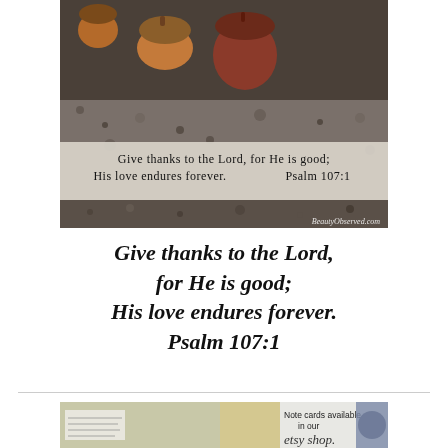[Figure (photo): Photo of acorns on gravel/asphalt ground with a Bible verse banner overlay reading 'Give thanks to the Lord, for He is good; His love endures forever. Psalm 107:1' and BeautyObserved.com watermark]
Give thanks to the Lord, for He is good;
His love endures forever.
Psalm 107:1
[Figure (photo): Photo showing handwritten note cards and text 'Note cards available in our etsy shop.']